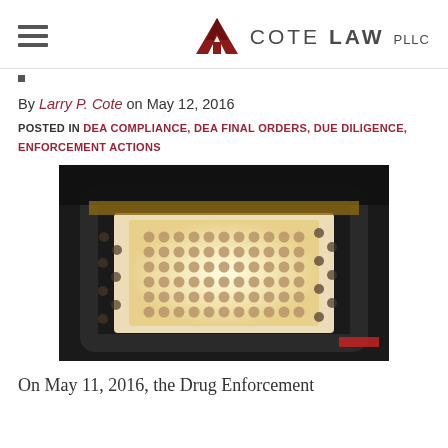COTE LAW PLLC
By Larry P. Cote on May 12, 2016
POSTED IN DEA COMPLIANCE, DEA FINAL ORDERS, DUE DILIGENCE, ENFORCEMENT ACTIONS
[Figure (photo): Close-up photograph of pharmaceutical pill manufacturing tray with rows of small round pills/capsules in a metal tray under bright light]
On May 11, 2016, the Drug Enforcement